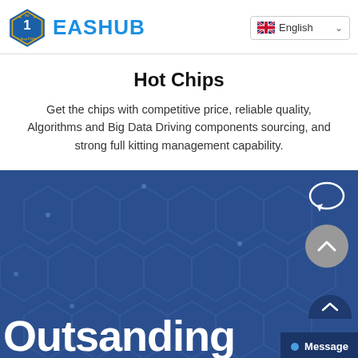EASHUB — English language selector
Hot Chips
Get the chips with competitive price, reliable quality, Algorithms and Big Data Driving components sourcing, and strong full kitting management capability.
[Figure (illustration): Blue banner section with hexagonal circuit-board pattern background, containing a chat bubble icon, a grey scroll-up circular button with upward chevron, partial text 'Outsanding' in large white bold font at bottom left, a dark blue 'Message' button at bottom right, and another scroll-up half-circle button above the message button.]